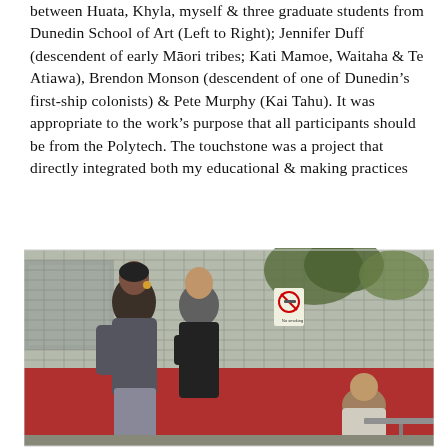between Huata, Khyla, myself & three graduate students from Dunedin School of Art (Left to Right); Jennifer Duff (descendent of early Māori tribes; Kati Mamoe, Waitaha & Te Atiawa), Brendon Monson (descendent of one of Dunedin's first-ship colonists) & Pete Murphy (Kai Tahu). It was appropriate to the work's purpose that all participants should be from the Polytech. The touchstone was a project that directly integrated both my educational & making practices
[Figure (photo): Outdoor photograph showing three people near a red wall with a metal wire fence behind them. Two people (a woman and a man) are standing and talking, while a third person is crouched or seated at a table to the right. There is a no-smoking sign visible on the fence, and trees/buildings in the background.]